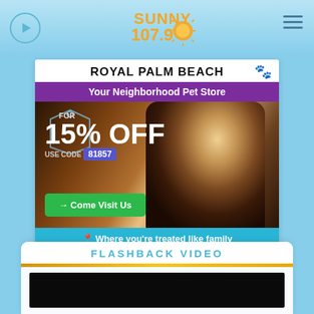[Figure (logo): Sunny 107.9 FM radio station logo in orange with sun graphic]
[Figure (infographic): Royal Palm Beach pet store advertisement. White box with header 'ROYAL PALM BEACH', purple banner 'Your Neighborhood Pet Store', photo of boxer dog, tag graphic 'FOR 15% OFF USE CODE 81857', green button '→ Come Visit Us', cyan footer 'Where you're treated like family']
FLASHBACK VIDEO
[Figure (screenshot): Dark video thumbnail placeholder]
dIRE sTRAITS    SULTANS OF SWING